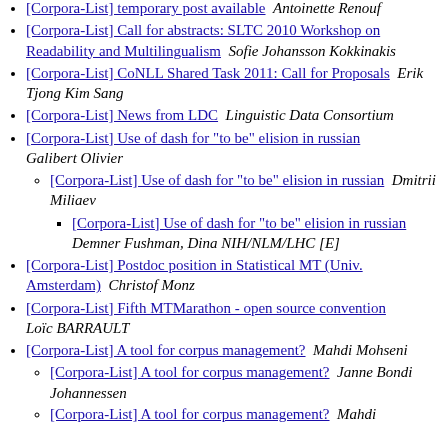[Corpora-List] temporary post available  Antoinette Renouf
[Corpora-List] Call for abstracts: SLTC 2010 Workshop on Readability and Multilingualism  Sofie Johansson Kokkinakis
[Corpora-List] CoNLL Shared Task 2011: Call for Proposals  Erik Tjong Kim Sang
[Corpora-List] News from LDC  Linguistic Data Consortium
[Corpora-List] Use of dash for "to be" elision in russian  Galibert Olivier
[Corpora-List] Use of dash for "to be" elision in russian  Dmitrii Miliaev
[Corpora-List] Use of dash for "to be" elision in russian  Demner Fushman, Dina NIH/NLM/LHC [E]
[Corpora-List] Postdoc position in Statistical MT (Univ. Amsterdam)  Christof Monz
[Corpora-List] Fifth MTMarathon - open source convention  Loïc BARRAULT
[Corpora-List] A tool for corpus management?  Mahdi Mohseni
[Corpora-List] A tool for corpus management?  Janne Bondi Johannessen
[Corpora-List] A tool for corpus management?  Mahdi